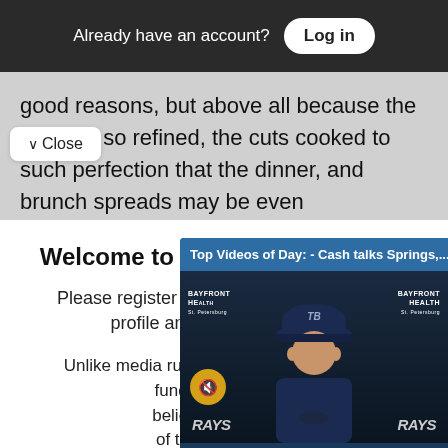Already have an account?  Log in
good reasons, but above all because the menu is so refined, the cuts cooked to such perfection that the dinner, and brunch spreads may be even
Close
Welcome to The Dig community.
Please register to create your secure user profile and continue reading.
Unlike media run by billionaires and hedge funds, we do not... believe in access... of the last free n...
Free Newsle...
[Figure (screenshot): Video overlay showing 'Top Videos of Day: - Cash talks Springs,...' with a close X button and a video of a baseball manager at a press conference with Bayfront Health and Rays branding visible. A yellow mute button is shown in lower left of video.]